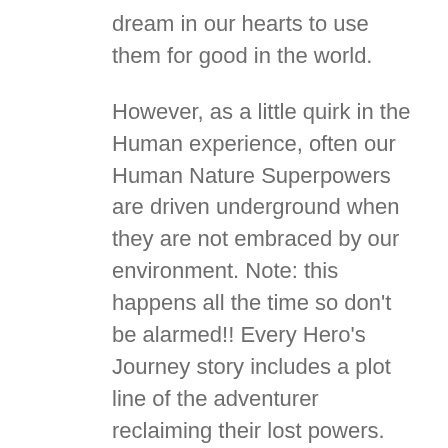dream in our hearts to use them for good in the world.
However, as a little quirk in the Human experience, often our Human Nature Superpowers are driven underground when they are not embraced by our environment. Note: this happens all the time so don't be alarmed!! Every Hero's Journey story includes a plot line of the adventurer reclaiming their lost powers. And every Hero on a journey has a Guide.